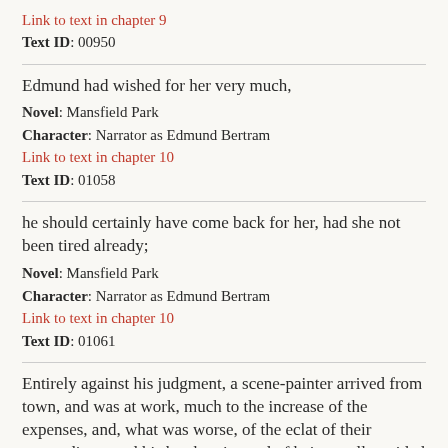Link to text in chapter 9
Text ID: 00950
Edmund had wished for her very much,
Novel: Mansfield Park
Character: Narrator as Edmund Bertram
Link to text in chapter 10
Text ID: 01058
he should certainly have come back for her, had she not been tired already;
Novel: Mansfield Park
Character: Narrator as Edmund Bertram
Link to text in chapter 10
Text ID: 01061
Entirely against his judgment, a scene-painter arrived from town, and was at work, much to the increase of the expenses, and, what was worse, of the eclat of their proceedings; and his brother, instead of being really guided by him as to the privacy of the representation, was giving an invitation to every family who